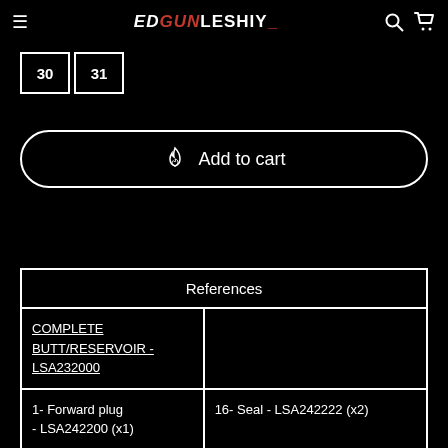EDGUNLESHIY
30
31
Add to cart
| References |
| --- |
| COMPLETE BUTT/RESERVOIR - LSA232000 |  |
| 1- Forward plug - LSA242200 (x1) | 16- Seal - LSA242222 (x2) |